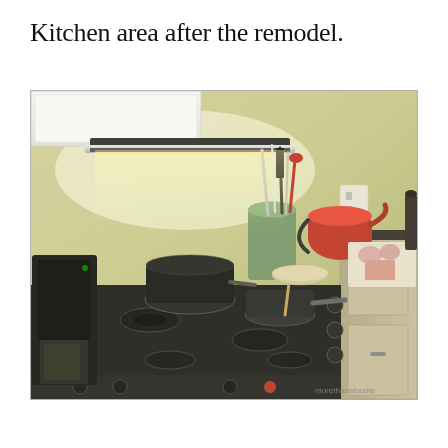Kitchen area after the remodel.
[Figure (photo): A kitchen interior showing a black gas stove with pots and pans on it, a coffee maker on the left, a green flower pot holding kitchen utensils, a red kettle, dark countertops, and a range hood above. The kitchen has yellow-green walls and white upper cabinets. A watermark reading 'morethanafoodie' is in the lower right corner.]